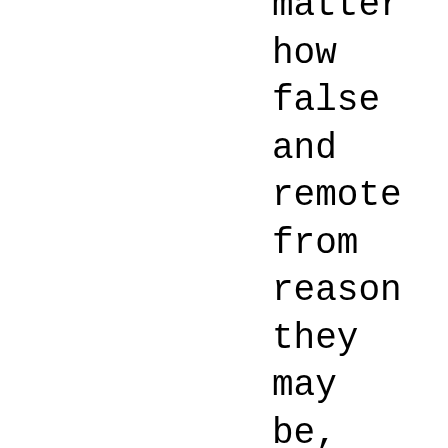matter how false and remote from reason they may be, rather than by a true and firm refutation of these opinions which